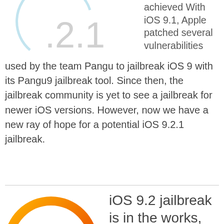[Figure (illustration): iOS 9.2.1 logo with a circular arc in light blue/gray and the text .2.1 in large light gray numerals]
achieved With iOS 9.1, Apple patched several vulnerabilities used by the team Pangu to jailbreak iOS 9 with its Pangu9 jailbreak tool. Since then, the jailbreak community is yet to see a jailbreak for newer iOS versions. However, now we have a new ray of hope for a potential iOS 9.2.1 jailbreak.
[Figure (illustration): Circular logo with orange-to-red gradient ring, partially visible at bottom of page]
iOS 9.2 jailbreak is in the works, claims...